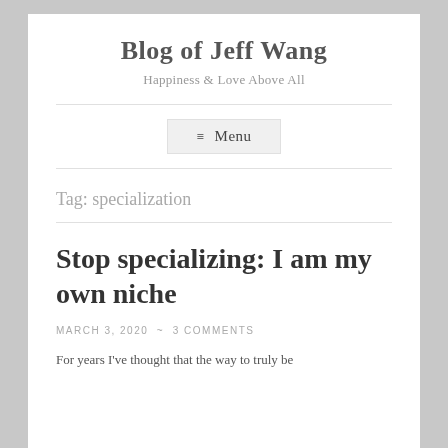Blog of Jeff Wang
Happiness & Love Above All
≡ Menu
Tag: specialization
Stop specializing: I am my own niche
MARCH 3, 2020  ~  3 COMMENTS
For years I've thought that the way to truly be...